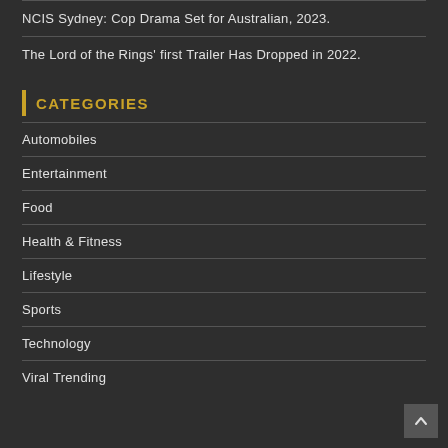NCIS Sydney: Cop Drama Set for Australian, 2023.
The Lord of the Rings' first Trailer Has Dropped in 2022.
CATEGORIES
Automobiles
Entertainment
Food
Health & Fitness
Lifestyle
Sports
Technology
Viral Trending